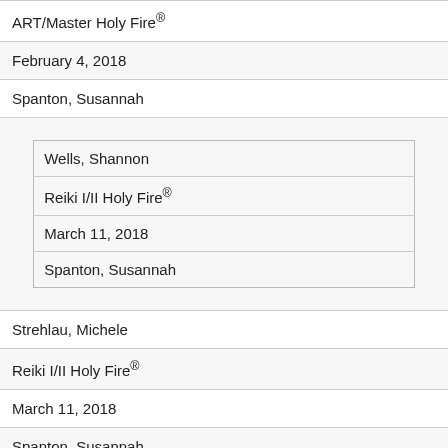| ART/Master Holy Fire® |
| February 4, 2018 |
| Spanton, Susannah |
| [nested: Wells, Shannon | Reiki I/II Holy Fire® | March 11, 2018 | Spanton, Susannah] |
| Strehlau, Michele |
| Reiki I/II Holy Fire® |
| March 11, 2018 |
| Spanton, Susannah |